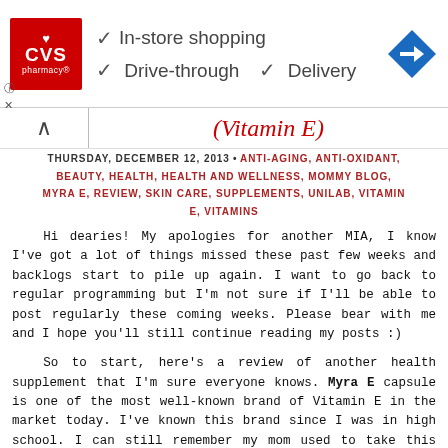[Figure (other): CVS Pharmacy advertisement banner showing logo with checkmarks for In-store shopping, Drive-through, and Delivery, plus a navigation arrow icon on the right]
(Vitamin E)
THURSDAY, DECEMBER 12, 2013 • ANTI-AGING, ANTI-OXIDANT, BEAUTY, HEALTH, HEALTH AND WELLNESS, MOMMY BLOG, MYRA E, REVIEW, SKIN CARE, SUPPLEMENTS, UNILAB, VITAMIN E, VITAMINS
Hi dearies! My apologies for another MIA, I know I've got a lot of things missed these past few weeks and backlogs start to pile up again. I want to go back to regular programming but I'm not sure if I'll be able to post regularly these coming weeks. Please bear with me and I hope you'll still continue reading my posts :)
So to start, here's a review of another health supplement that I'm sure everyone knows. Myra E capsule is one of the most well-known brand of Vitamin E in the market today. I've known this brand since I was in high school. I can still remember my mom used to take this vitamin every night and she said that it's a skin vitamin. I have a simple question to ask: do you consider taking vitamin supplements for the skin even if you're taking care